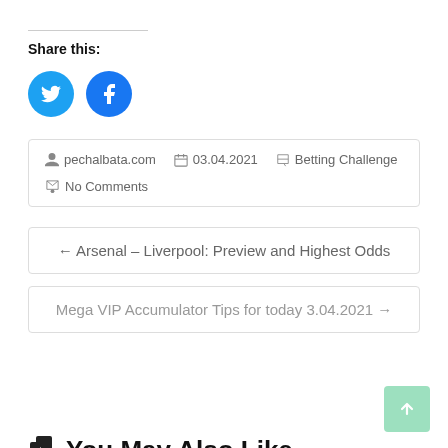Share this:
[Figure (illustration): Twitter and Facebook social share circular icon buttons in blue]
pechalbata.com   03.04.2021   Betting Challenge   No Comments
← Arsenal – Liverpool: Preview and Highest Odds
Mega VIP Accumulator Tips for today 3.04.2021 →
You May Also Like